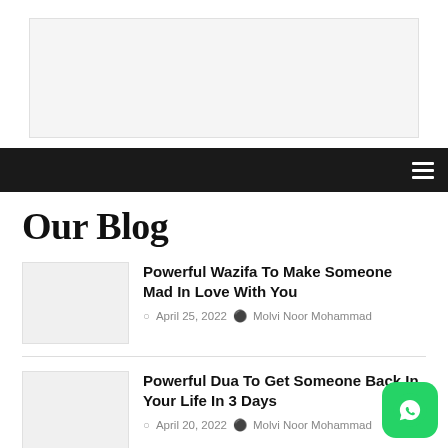[Figure (other): Advertisement banner placeholder, light gray rectangle]
Navigation bar with hamburger menu icon
Our Blog
Powerful Wazifa To Make Someone Mad In Love With You
April 25, 2022  Molvi Noor Mohammad
Powerful Dua To Get Someone Back In Your Life In 3 Days
April 20, 2022  Molvi Noor Mohammad